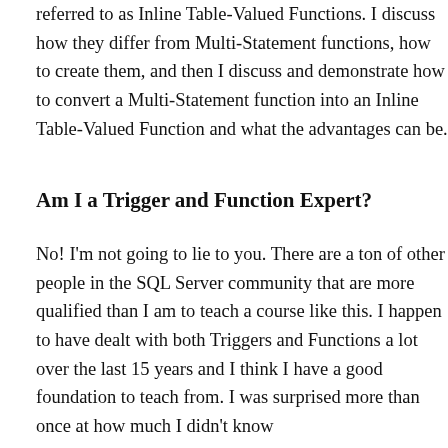referred to as Inline Table-Valued Functions. I discuss how they differ from Multi-Statement functions, how to create them, and then I discuss and demonstrate how to convert a Multi-Statement function into an Inline Table-Valued Function and what the advantages can be.
Am I a Trigger and Function Expert?
No! I'm not going to lie to you. There are a ton of other people in the SQL Server community that are more qualified than I am to teach a course like this. I happen to have dealt with both Triggers and Functions a lot over the last 15 years and I think I have a good foundation to teach from. I was surprised more than once at how much I didn't know